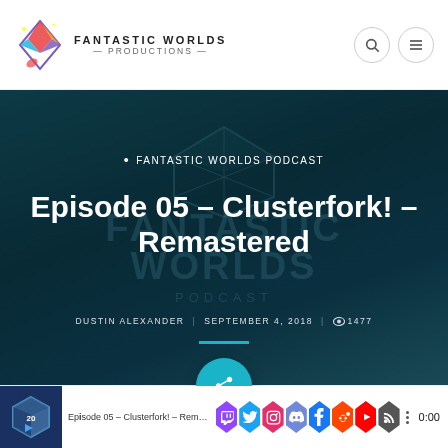Fantastic Worlds Productions
FANTASTIC WORLDS PODCAST
Episode 05 – Clusterfork! – Remastered
DUSTIN ALEXANDER  SEPTEMBER 4, 2018  👁 1477
[Figure (screenshot): Social media sharing icon bar at the bottom with hexagonal icons for Twitch, Twitter, Instagram, Discord, Facebook, Reddit, YouTube, RSS]
Episode 05 – Clusterfork! – Remastered  0:00